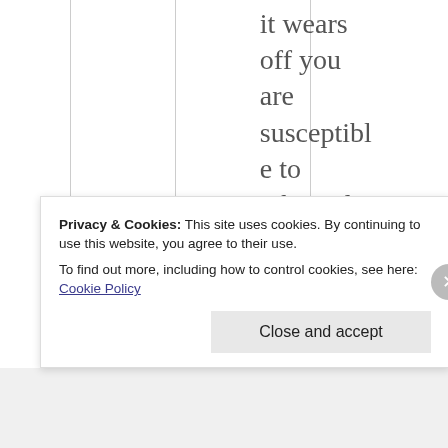it wears off you are susceptible to rebound migraine, which sounds like the
Privacy & Cookies: This site uses cookies. By continuing to use this website, you agree to their use.
To find out more, including how to control cookies, see here: Cookie Policy

Close and accept